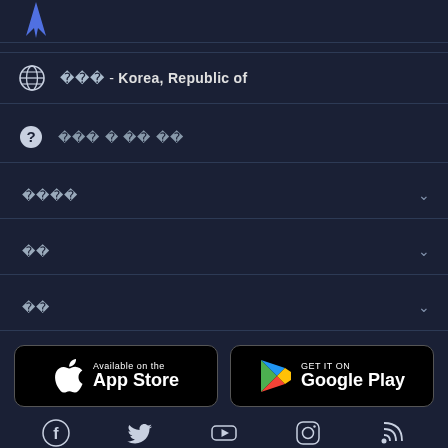[Figure (logo): App logo icon - partial lightning bolt or location pin shape in top left]
🌐 한국어 - Korea, Republic of
❓ 개인정보 및 쿠키 정책
개인정보처리방침 (dropdown)
쿠키 (dropdown)
약관 (dropdown)
[Figure (logo): App Store badge - Available on the App Store]
[Figure (logo): Google Play badge - GET IT ON Google Play]
[Figure (infographic): Social media icons row: Facebook, Twitter, YouTube, Instagram, RSS feed]